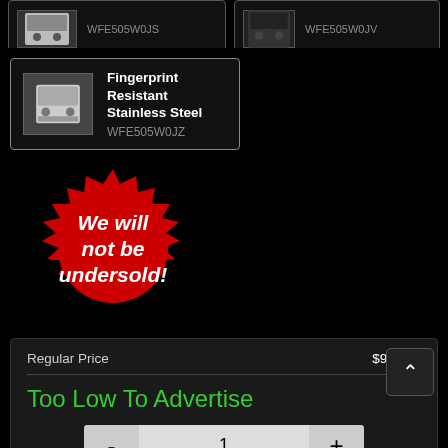[Figure (screenshot): Product card showing stainless steel range with model WFE505W0JS (partially visible at top)]
[Figure (screenshot): Product card showing black range with model WFE505W0JV (partially visible at top right)]
[Figure (screenshot): Product card for Fingerprint Resistant Stainless Steel range, model WFE505W0JZ]
[Figure (infographic): Red starburst badge with white italic bold text: We will not be undersold!]
Regular Price
$989.99
Too Low To Advertise
1
Request Quote